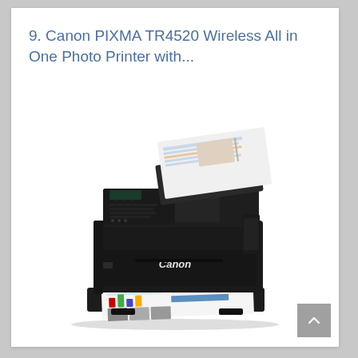9. Canon PIXMA TR4520 Wireless All in One Photo Printer with...
[Figure (photo): Canon PIXMA TR4520 all-in-one inkjet printer in black, shown with document being fed from the automatic document feeder on top and printed pages emerging from the output tray at the bottom.]